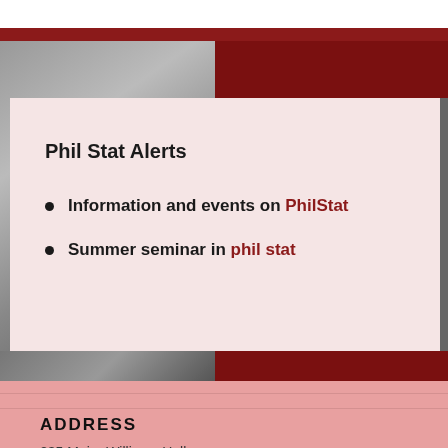[Figure (photo): Background photo with grey/dark areas and red stripe decorative element at top]
Phil Stat Alerts
Information and events on PhilStat
Summer seminar in phil stat
[Figure (photo): Background photo with grey/dark areas and red stripe decorative element at bottom section]
ADDRESS
235 Major Williams Hall
Blacksburg, VA 24060